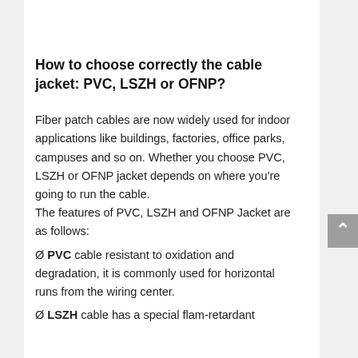| length(M) |  |
| --- | --- |
| length(M) | 50m,100m...Customized |
How to choose correctly the cable jacket: PVC, LSZH or OFNP?
Fiber patch cables are now widely used for indoor applications like buildings, factories, office parks, campuses and so on. Whether you choose PVC, LSZH or OFNP jacket depends on where you're going to run the cable.
The features of PVC, LSZH and OFNP Jacket are as follows:
Ø PVC cable resistant to oxidation and degradation, it is commonly used for horizontal runs from the wiring center.
Ø LSZH cable has a special flam-retardant